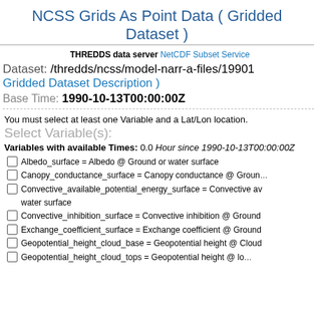NCSS Grids As Point Data ( Gridded Dataset )
THREDDS data server NetCDF Subset Service
Dataset: /thredds/ncss/model-narr-a-files/19901...
Gridded Dataset Description )
Base Time: 1990-10-13T00:00:00Z
You must select at least one Variable and a Lat/Lon location.
Select Variable(s):
Variables with available Times: 0.0 Hour since 1990-10-13T00:00:00Z
Albedo_surface = Albedo @ Ground or water surface
Canopy_conductance_surface = Canopy conductance @ Ground...
Convective_available_potential_energy_surface = Convective av... water surface
Convective_inhibition_surface = Convective inhibition @ Ground...
Exchange_coefficient_surface = Exchange coefficient @ Ground...
Geopotential_height_cloud_base = Geopotential height @ Cloud...
Geopotential_height_cloud_tops = Geopotential height @ lo...